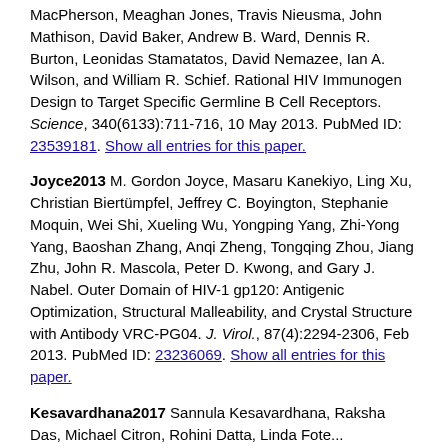MacPherson, Meaghan Jones, Travis Nieusma, John Mathison, David Baker, Andrew B. Ward, Dennis R. Burton, Leonidas Stamatatos, David Nemazee, Ian A. Wilson, and William R. Schief. Rational HIV Immunogen Design to Target Specific Germline B Cell Receptors. Science, 340(6133):711-716, 10 May 2013. PubMed ID: 23539181. Show all entries for this paper.
Joyce2013 M. Gordon Joyce, Masaru Kanekiyo, Ling Xu, Christian Biertümpfel, Jeffrey C. Boyington, Stephanie Moquin, Wei Shi, Xueling Wu, Yongping Yang, Zhi-Yong Yang, Baoshan Zhang, Anqi Zheng, Tongqing Zhou, Jiang Zhu, John R. Mascola, Peter D. Kwong, and Gary J. Nabel. Outer Domain of HIV-1 gp120: Antigenic Optimization, Structural Malleability, and Crystal Structure with Antibody VRC-PG04. J. Virol., 87(4):2294-2306, Feb 2013. PubMed ID: 23236069. Show all entries for this paper.
Kesavardhana2017 Sannula Kesavardhana, Raksha Das, Michael Citron, Rohini Datta, Linda Fote...